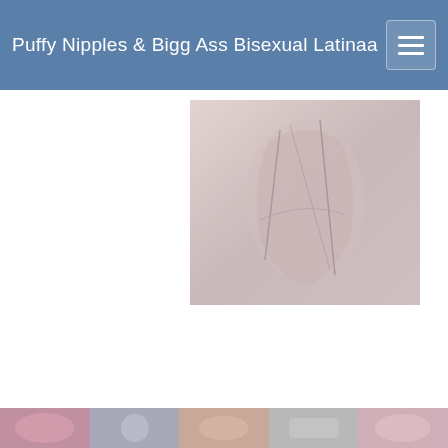Puffy Nipples & Bigg Ass Bisexual Latinaa
[Figure (photo): A close-up photo positioned in the upper-left area of the main content region]
[Figure (photo): A row of thumbnail images at the bottom of the page on a pink background strip]